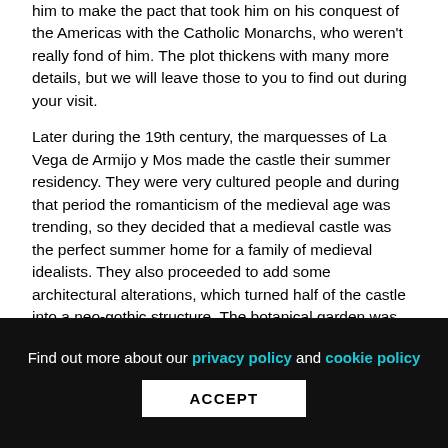him to make the pact that took him on his conquest of the Americas with the Catholic Monarchs, who weren't really fond of him. The plot thickens with many more details, but we will leave those to you to find out during your visit.
Later during the 19th century, the marquesses of La Vega de Armijo y Mos made the castle their summer residency. They were very cultured people and during that period the romanticism of the medieval age was trending, so they decided that a medieval castle was the perfect summer home for a family of medieval idealists. They also proceeded to add some architectural alterations, which turned half of the castle into a neo-gothic structure. The botanical garden was probably also started by them, as during the romanticism there
Find out more about our privacy policy and cookie policy
ACCEPT